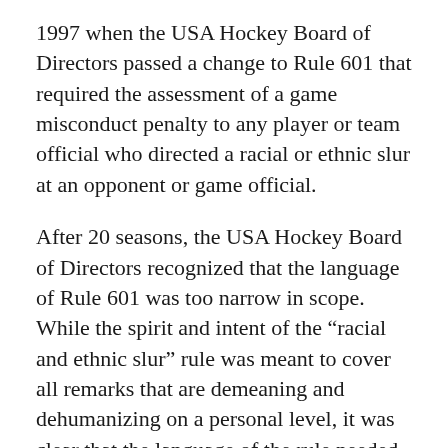1997 when the USA Hockey Board of Directors passed a change to Rule 601 that required the assessment of a game misconduct penalty to any player or team official who directed a racial or ethnic slur at an opponent or game official.
After 20 seasons, the USA Hockey Board of Directors recognized that the language of Rule 601 was too narrow in scope. While the spirit and intent of the “racial and ethnic slur” rule was meant to cover all remarks that are demeaning and dehumanizing on a personal level, it was clear that the language of the rule needed to be broadened to accommodate all types of discrimination. These include (but are not limited to) ethnicity, race, gender, sexual orientation, physical or mental